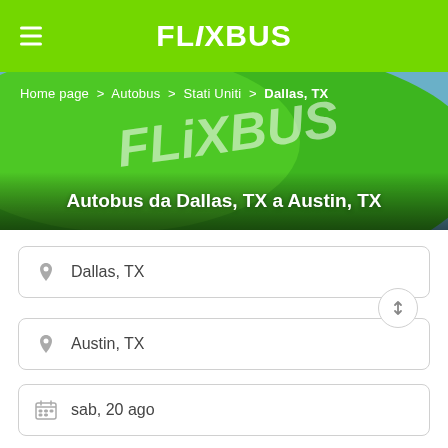[Figure (screenshot): FlixBus website mobile header with green background, hamburger menu icon on left, and FLIXBUS logo in white bold italic text centered]
[Figure (photo): Hero banner showing a green FlixBus bus with breadcrumb navigation 'Home page > Autobus > Stati Uniti > Dallas, TX' and title 'Autobus da Dallas, TX a Austin, TX' in white bold text]
Home page > Autobus > Stati Uniti > Dallas, TX
Autobus da Dallas, TX a Austin, TX
Dallas, TX
Austin, TX
sab, 20 ago
,